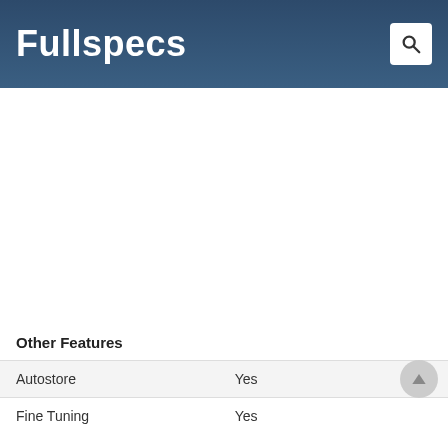Fullspecs
Other Features
| Autostore | Yes |
| Fine Tuning | Yes |